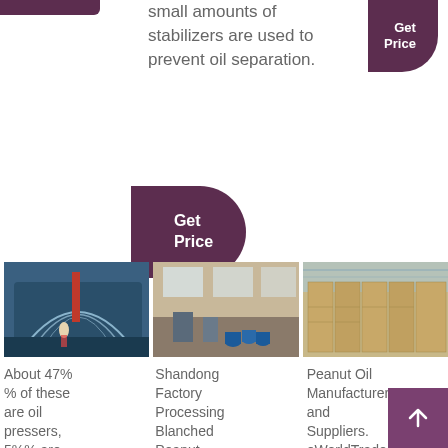[Figure (other): Purple 'Get Price' button top right]
small amounts of stabilizers are used to prevent oil separation.
[Figure (other): Purple 'Get Price' button center]
[Figure (photo): Industrial facility interior with arched structure and worker]
[Figure (photo): Factory floor with equipment and blue barrels]
[Figure (photo): Large wooden crates or panels stacked in warehouse]
About 47%% of these are oil pressers, 5%% are
Shandong Factory Processing Blanched Peanut
Peanut Oil Manufacturers and Suppliers. eWorldTrade.com